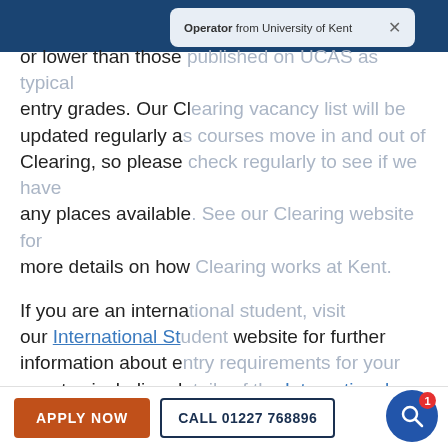[Figure (screenshot): University of Kent website screenshot showing header bar, a chat operator popup overlay, body text about Clearing and international students, and bottom CTA buttons.]
or lower than those published on UCAS as typical entry grades. Our Clearing vacancy list will be updated regularly as courses move in and out of Clearing, so please check regularly to see if we have any places available. See our Clearing website for more details on how Clearing works at Kent.
If you are an international student, visit our International Student website for further information about entry requirements for your country, including details of the International Foundation Programmes. Please note that international fee-paying students who require
APPLY NOW
CALL 01227 768896